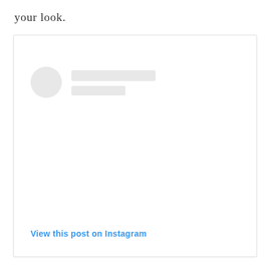your look.
[Figure (screenshot): Instagram embedded post placeholder showing a circular avatar placeholder, two grey loading bar placeholders for username/handle, a large empty white content area, and a 'View this post on Instagram' link in blue at the bottom.]
View this post on Instagram